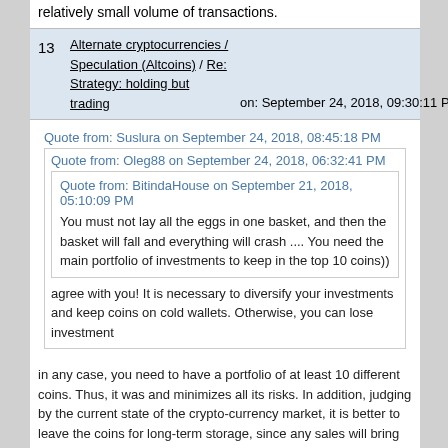relatively small volume of transactions.
| # | Topic | Date |
| --- | --- | --- |
| 13 | Alternate cryptocurrencies / Speculation (Altcoins) / Re: Strategy: holding but trading | on: September 24, 2018, 09:30:11 PM |
Quote from: Suslura on September 24, 2018, 08:45:18 PM
Quote from: Oleg88 on September 24, 2018, 06:32:41 PM
Quote from: BitindaHouse on September 21, 2018, 05:10:09 PM
You must not lay all the eggs in one basket, and then the basket will fall and everything will crash .... You need the main portfolio of investments to keep in the top 10 coins))
agree with you! It is necessary to diversify your investments and keep coins on cold wallets. Otherwise, you can lose investment
in any case, you need to have a portfolio of at least 10 different coins. Thus, it was and minimizes all its risks. In addition, judging by the current state of the crypto-currency market, it is better to leave the coins for long-term storage, since any sales will bring you only losses.
It is necessary to divide the investment to reduce the risk,